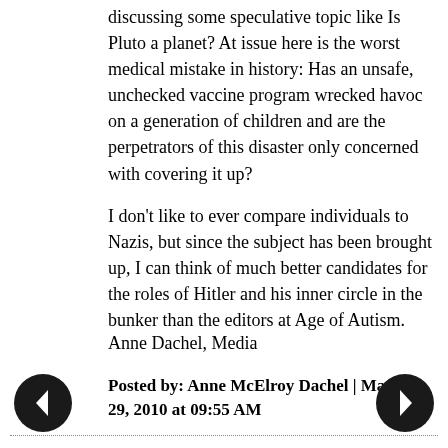discussing some speculative topic like Is Pluto a planet? At issue here is the worst medical mistake in history: Has an unsafe, unchecked vaccine program wrecked havoc on a generation of children and are the perpetrators of this disaster only concerned with covering it up?
I don't like to ever compare individuals to Nazis, but since the subject has been brought up, I can think of much better candidates for the roles of Hitler and his inner circle in the bunker than the editors at Age of Autism.
Anne Dachel, Media
Posted by: Anne McElroy Dachel | March 29, 2010 at 09:55 AM